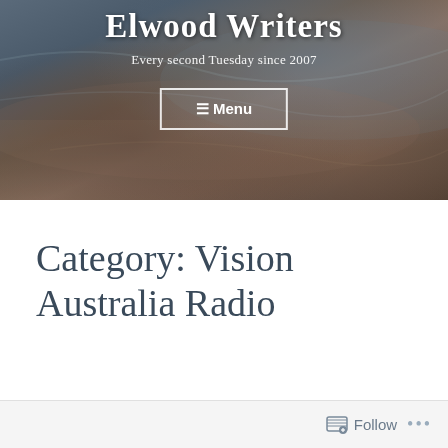Elwood Writers
Every second Tuesday since 2007
☰ Menu
[Figure (photo): Header background photo of a beach/coastal scene with sand and water, dark moody tones in browns and greys]
Category: Vision Australia Radio
Follow ...